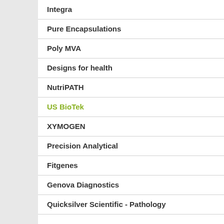Integra
Pure Encapsulations
Poly MVA
Designs for health
NutriPATH
US BioTek
XYMOGEN
Precision Analytical
Fitgenes
Genova Diagnostics
Quicksilver Scientific - Pathology
Search